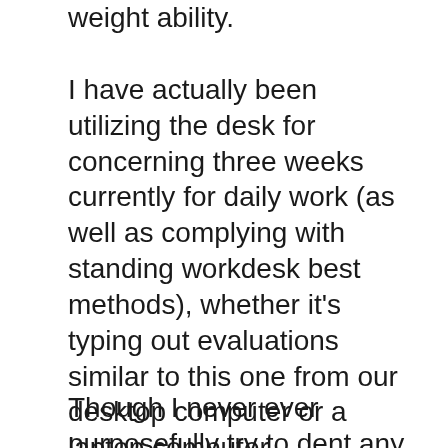weight ability.
I have actually been utilizing the desk for concerning three weeks currently for daily work (as well as complying with standing workdesk best methods), whether it's typing out evaluations similar to this one from our desktop computer or a laptop computer periodically. The desk stands up well against non-coastered beverages, and also the surface in addition to the desk still really feels just as smooth and also glossy as the day I opened it in spite of days of sweaty wrists wresting on it as well as numerous wipe downs with a rag.
Though I never ever purposefully try to dent any workdesks as well hard, throughout